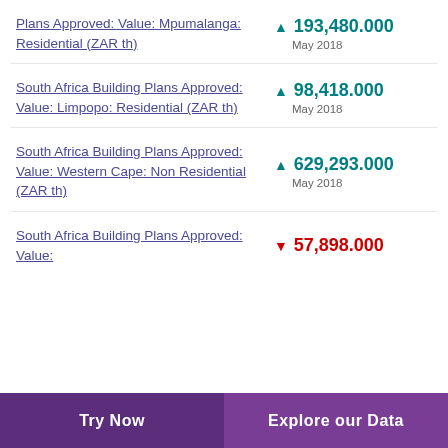South Africa Building Plans Approved: Value: Mpumalanga: Residential (ZAR th) ▲ 193,480.000 May 2018
South Africa Building Plans Approved: Value: Limpopo: Residential (ZAR th) ▲ 98,418.000 May 2018
South Africa Building Plans Approved: Value: Western Cape: Non Residential (ZAR th) ▲ 629,293.000 May 2018
South Africa Building Plans Approved: Value: ▼ 57,898.000
Try Now | Explore our Data